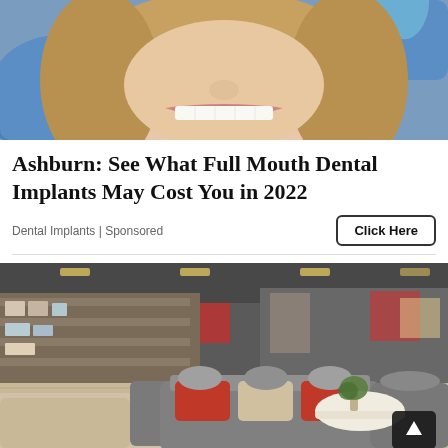[Figure (photo): Close-up photo of a woman smiling showing white teeth, with a dental professional in blue gloves holding dental instruments near her mouth]
Ashburn: See What Full Mouth Dental Implants May Cost You in 2022
Dental Implants | Sponsored
Click Here
[Figure (photo): Interior of a furniture showroom with grey sectional sofas with orange and beige pillows, shelving units with home goods, and warm lighting]